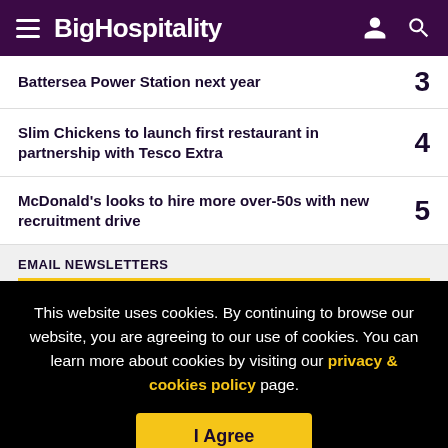BigHospitality
Battersea Power Station next year — 3
Slim Chickens to launch first restaurant in partnership with Tesco Extra — 4
McDonald's looks to hire more over-50s with new recruitment drive — 5
EMAIL NEWSLETTERS
This website uses cookies. By continuing to browse our website, you are agreeing to our use of cookies. You can learn more about cookies by visiting our privacy & cookies policy page.
I Agree